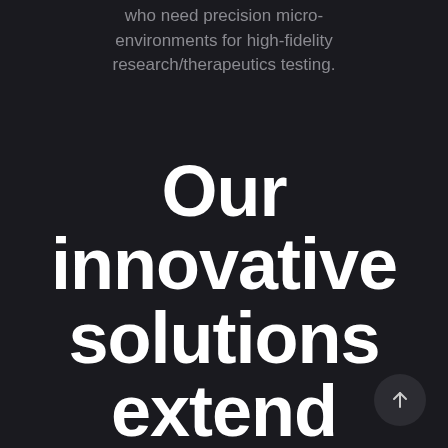who need precision micro-environments for high-fidelity research/therapeutics testing.
Our innovative solutions extend beyond our